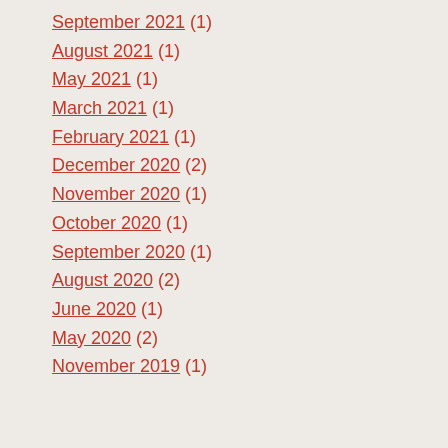September 2021 (1)
August 2021 (1)
May 2021 (1)
March 2021 (1)
February 2021 (1)
December 2020 (2)
November 2020 (1)
October 2020 (1)
September 2020 (1)
August 2020 (2)
June 2020 (1)
May 2020 (2)
November 2019 (1)